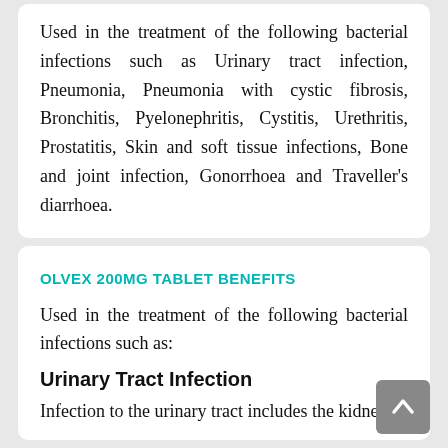Used in the treatment of the following bacterial infections such as Urinary tract infection, Pneumonia, Pneumonia with cystic fibrosis, Bronchitis, Pyelonephritis, Cystitis, Urethritis, Prostatitis, Skin and soft tissue infections, Bone and joint infection, Gonorrhoea and Traveller's diarrhoea.
OLVEX 200MG TABLET BENEFITS
Used in the treatment of the following bacterial infections such as:
Urinary Tract Infection
Infection to the urinary tract includes the kidneys